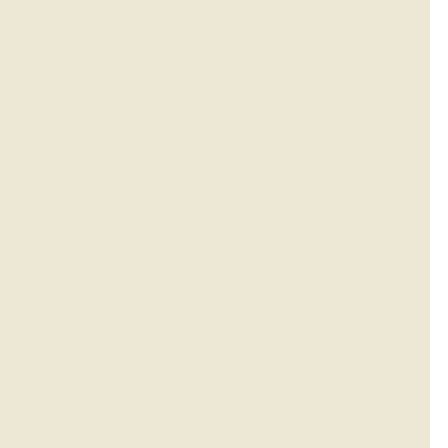“After getting information from a villager about tw... Army immediately launched a search operation in... a daylong operation, they could not find anything a... Superintendent of Police Mohan Lal. “But we are c...
The SP said the villager had informed the police ab... area, prompting them to launch a search operation.
“We thoroughly searched the area but didn’t find th...
The villager had claimed that he had seen two terro... said the police had also launched a search operatio... police station in Kathua district following a simila...
On March 30, the security forces had scanned the l... about two suspects near a tube well.
The Jammu-Poonch parliamentary constituency wi... constituency on April 17.
Intelligence agencies have already issued alerts to ... state about terror strikes in the backdrop of the Ge...
Pak truck driver’s cu...
Our C...